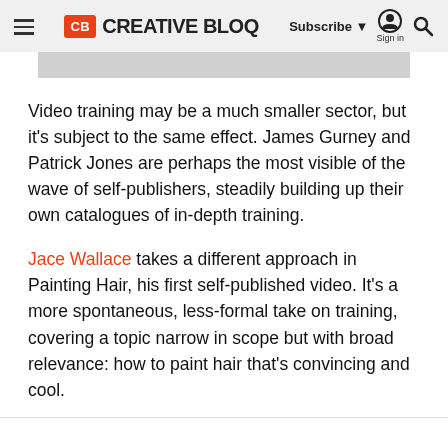CB CREATIVE BLOQ — Subscribe ▼ Sign in 🔍
Video training may be a much smaller sector, but it's subject to the same effect. James Gurney and Patrick Jones are perhaps the most visible of the wave of self-publishers, steadily building up their own catalogues of in-depth training.
Jace Wallace takes a different approach in Painting Hair, his first self-published video. It's a more spontaneous, less-formal take on training, covering a topic narrow in scope but with broad relevance: how to paint hair that's convincing and cool.